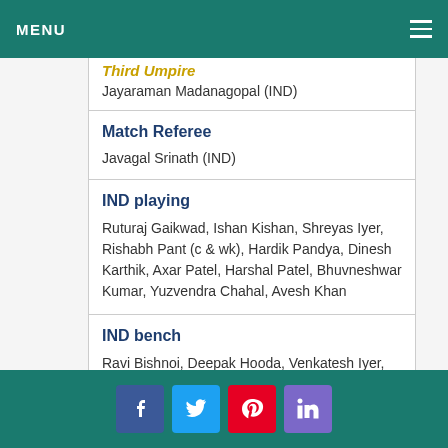MENU
Third Umpire
Jayaraman Madanagopal (IND)
Match Referee
Javagal Srinath (IND)
IND playing
Ruturaj Gaikwad, Ishan Kishan, Shreyas Iyer, Rishabh Pant (c & wk), Hardik Pandya, Dinesh Karthik, Axar Patel, Harshal Patel, Bhuvneshwar Kumar, Yuzvendra Chahal, Avesh Khan
IND bench
Ravi Bishnoi, Deepak Hooda, Venkatesh Iyer, Arshdeep Singh, Umran Malik